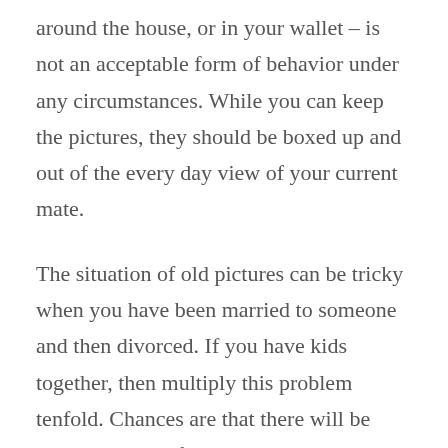around the house, or in your wallet – is not an acceptable form of behavior under any circumstances. While you can keep the pictures, they should be boxed up and out of the every day view of your current mate.
The situation of old pictures can be tricky when you have been married to someone and then divorced. If you have kids together, then multiply this problem tenfold. Chances are that there will be many pictures of you and your ex, along with your kids creating a picture trail that can follow you around everywhere you go. You shouldn't just expect your children to put away